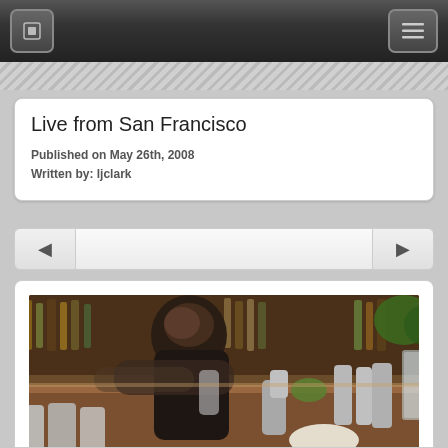Navigation bar with app icon and menu icon
Live from San Francisco
Published on May 26th, 2008
Written by: ljclark
[Figure (photo): A bartender with curly dark hair shaking a cocktail at a bar, with liquor bottles on shelves in the background and bar equipment on the counter.]